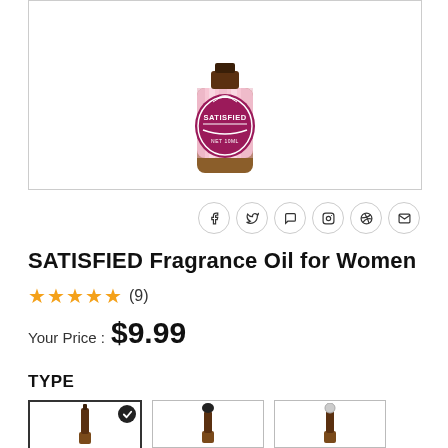[Figure (photo): Product photo of SATISFIED Fragrance Oil for Women — amber glass bottle with pink and white label showing 'SATISFIED NET 10ML']
SATISFIED Fragrance Oil for Women
★★★★★ (9)
Your Price : $9.99
TYPE
[Figure (photo): Three bottle type options: selected dropper cap bottle, dropper bulb bottle, roller ball bottle]